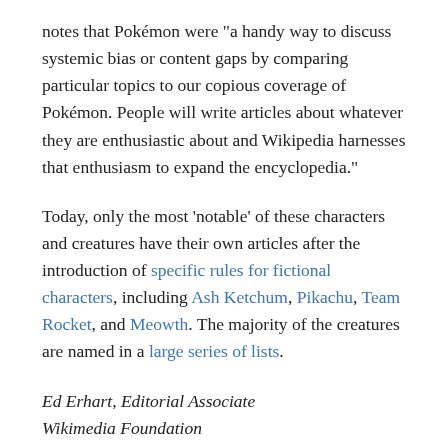notes that Pokémon were “a handy way to discuss systemic bias or content gaps by comparing particular topics to our copious coverage of Pokémon. People will write articles about whatever they are enthusiastic about and Wikipedia harnesses that enthusiasm to expand the encyclopedia.”
Today, only the most ‘notable’ of these characters and creatures have their own articles after the introduction of specific rules for fictional characters, including Ash Ketchum, Pikachu, Team Rocket, and Meowth. The majority of the creatures are named in a large series of lists.
Ed Erhart, Editorial Associate
Wikimedia Foundation